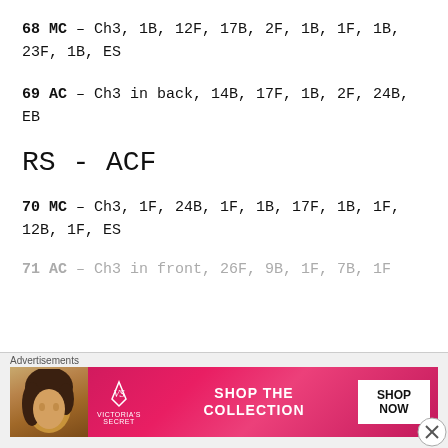68 MC – Ch3, 1B, 12F, 17B, 2F, 1B, 1F, 1B, 23F, 1B, ES
69 AC – Ch3 in back, 14B, 17F, 1B, 2F, 24B, EB
RS - ACF
70 MC – Ch3, 1F, 24B, 1F, 1B, 17F, 1B, 1F, 12B, 1F, ES
71 AC – Ch3 in front, 26F, 9B, 1F, 7B, 1F…
[Figure (other): Victoria's Secret advertisement banner with model photo, VS logo, 'SHOP THE COLLECTION' text, and 'SHOP NOW' button]